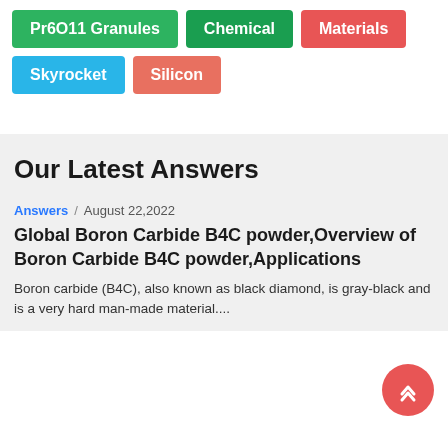Pr6O11 Granules
Chemical
Materials
Skyrocket
Silicon
Our Latest Answers
Answers / August 22,2022
Global Boron Carbide B4C powder,Overview of Boron Carbide B4C powder,Applications
Boron carbide (B4C), also known as black diamond, is gray-black and is a very hard man-made material....